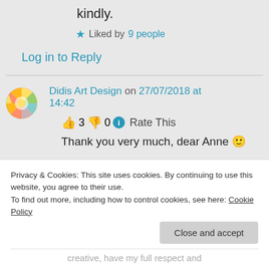kindly.
Liked by 9 people
Log in to Reply
Didis Art Design on 27/07/2018 at 14:42
👍 3 👎 0 ℹ Rate This
Thank you very much, dear Anne 🙂
Privacy & Cookies: This site uses cookies. By continuing to use this website, you agree to their use.
To find out more, including how to control cookies, see here: Cookie Policy
Close and accept
creative, have my full respect and